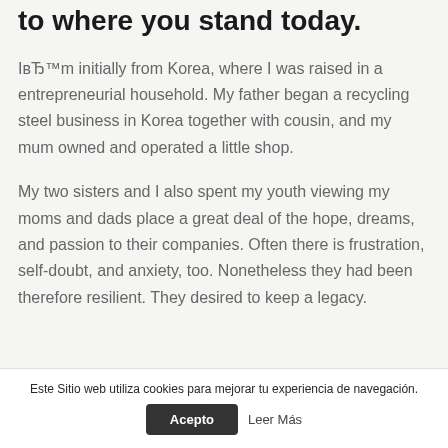to where you stand today.
IвЂ™m initially from Korea, where I was raised in a entrepreneurial household. My father began a recycling steel business in Korea together with cousin, and my mum owned and operated a little shop.
My two sisters and I also spent my youth viewing my moms and dads place a great deal of the hope, dreams, and passion to their companies. Often there is frustration, self-doubt, and anxiety, too. Nonetheless they had been therefore resilient. They desired to keep a legacy.
Este Sitio web utiliza cookies para mejorar tu experiencia de navegación.
Acepto    Leer Más